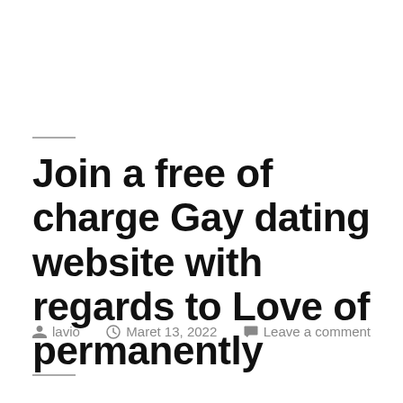Join a free of charge Gay dating website with regards to Love of permanently
lavio  Maret 13, 2022  Leave a comment